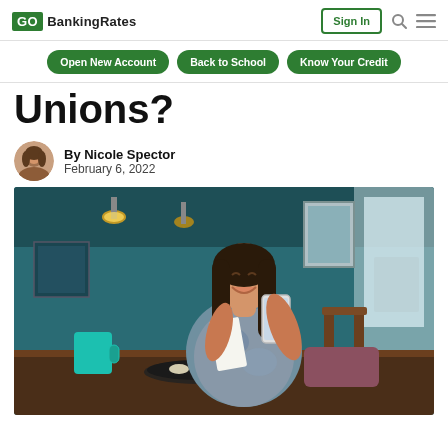GOBankingRates | Sign In
Open New Account | Back to School | Know Your Credit
Unions?
By Nicole Spector
February 6, 2022
[Figure (photo): Young woman smiling and looking at her phone while sitting at a table in a teal-walled café, holding a paper document, with a teal coffee mug and food on the table. Empty chairs visible in the background.]